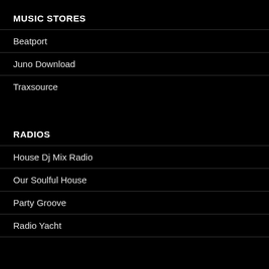MUSIC STORES
Beatport
Juno Download
Traxsource
RADIOS
House Dj Mix Radio
Our Soulful House
Party Groove
Radio Yacht